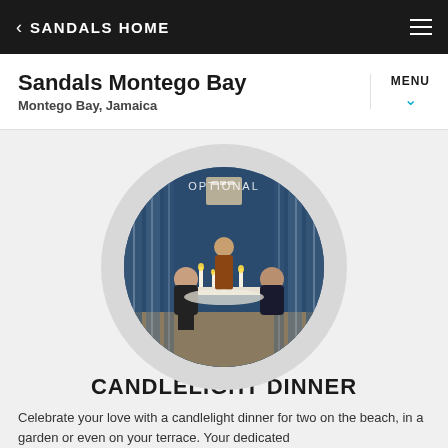< SANDALS HOME
Sandals Montego Bay
Montego Bay, Jamaica
[Figure (photo): Romantic candlelight dinner scene with a couple seated at a decorated table with candles, attended by a waiter, set under blue draped fabric with hanging crystal garlands. Labeled OPTIONAL.]
CANDLELIGHT DINNER
Celebrate your love with a candlelight dinner for two on the beach, in a garden or even on your terrace. Your dedicated